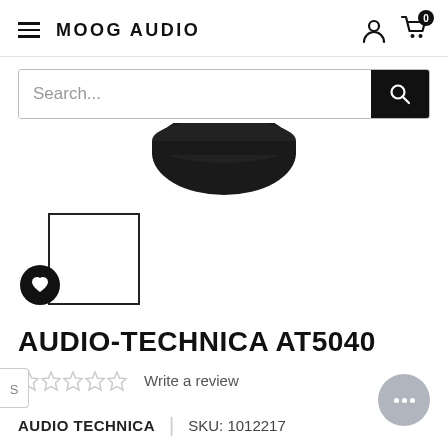MOOG AUDIO
Search...
[Figure (photo): Partial view of Audio-Technica AT5040 microphone, showing the bottom black capsule/head portion against white background]
[Figure (photo): Small product thumbnail image placeholder with heart/wishlist button overlay]
AUDIO-TECHNICA AT5040
☆☆☆☆☆ Write a review
AUDIO TECHNICA | SKU: 1012217